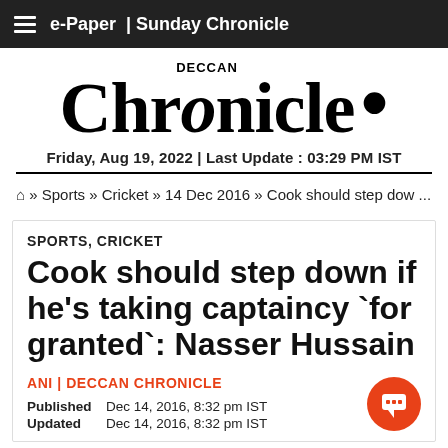e-Paper | Sunday Chronicle
Deccan Chronicle
Friday, Aug 19, 2022 | Last Update : 03:29 PM IST
🏠 » Sports » Cricket » 14 Dec 2016 » Cook should step dow ...
SPORTS, CRICKET
Cook should step down if he's taking captaincy `for granted`: Nasser Hussain
ANI | DECCAN CHRONICLE
Published Dec 14, 2016, 8:32 pm IST
Updated Dec 14, 2016, 8:32 pm IST